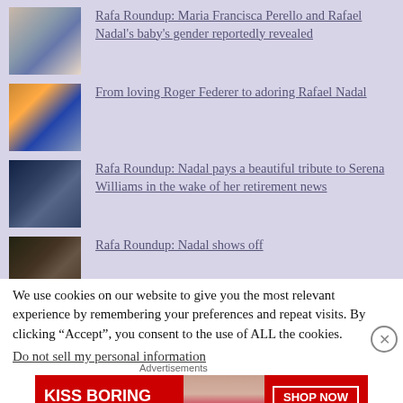Rafa Roundup: Maria Francisca Perello and Rafael Nadal's baby's gender reportedly revealed
From loving Roger Federer to adoring Rafael Nadal
Rafa Roundup: Nadal pays a beautiful tribute to Serena Williams in the wake of her retirement news
Rafa Roundup: Nadal shows off
We use cookies on our website to give you the most relevant experience by remembering your preferences and repeat visits. By clicking “Accept”, you consent to the use of ALL the cookies.
Do not sell my personal information
Advertisements
[Figure (photo): Advertisement banner: KISS BORING LIPS GOODBYE with a woman's lips and SHOP NOW / Macy's branding]